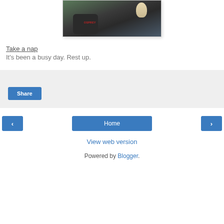[Figure (photo): A photo showing a person with a backpack (with OSPREY text visible) and a cat, outdoors with greenery in background]
Take a nap
It's been a busy day. Rest up.
Share
Home
View web version
Powered by Blogger.